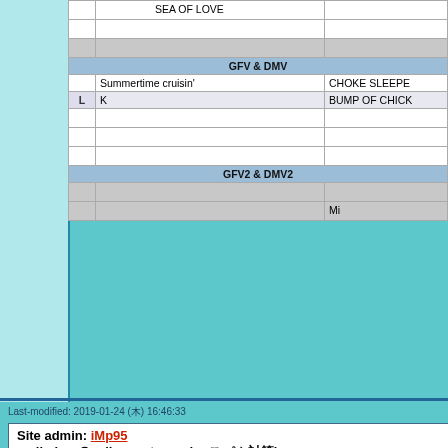|  | Song | Artist |
| --- | --- | --- |
|  | 　　　　　　SEA OF LOVE　 | 　　　　　　　　　　 |
|  | 　　　　　　　　　　 | 　　　　　　　　　　 |
|  | 　　　　　　 | 　　　　　　 |
| GFV & DMV |  |  |
|  | Summertime cruisin' | CHOKE SLEEPE |
| L | K | BUMP OF CHICK |
|  | 　　　　　 | 　　　　　　 |
|  | 　　　　 | 　　　　　　　　　　 |
|  | 　　　　　　　　　　　　　 | 　　　　　　　　 |
| GFV2 & DMV2 |  |  |
|  | 　　　 | 　　　　　　　　 |
|  | 　　　　　 | Mi　　　　 |
[Figure (other): Blue section header bar with Japanese text and up arrow]
|  | Item |
| --- | --- |
|  | 　　　　　 |
| L | 　　　　 |
|  | 　　　　　　　　　 |
Last-modified: 2019-01-24 (木) 16:46:33
Site admin: iMp95
mail : imp＠callusnext.com (← スパム対策)
PukiWiki 1.5.1 © 2001-2016 PukiWiki Development Team. Powered by PHP 7.4.30. HTML convert time: 0.049 sec